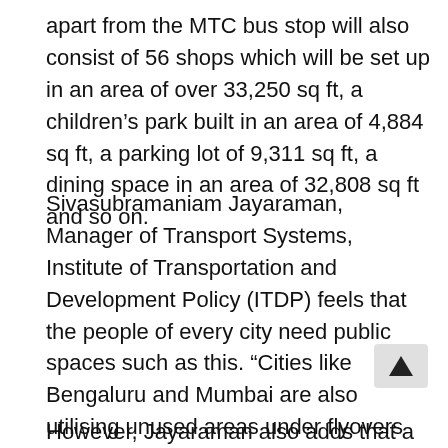apart from the MTC bus stop will also consist of 56 shops which will be set up in an area of over 33,250 sq ft, a children's park built in an area of 4,884 sq ft, a parking lot of 9,311 sq ft, a dining space in an area of 32,808 sq ft and so on.
Sivasubramaniam Jayaraman, Manager of Transport Systems, Institute of Transportation and Development Policy (ITDP) feels that the people of every city need public spaces such as this. “Cities like Bengaluru and Mumbai are also utilising unused areas under flyovers for various recreational purposes like walking corridors and so on. And with Kathipara being a central point, this project could also act as a resting point for several commuters coming into the city from various points,” he adds.
However, Jayaraman also adds that a lot does depend